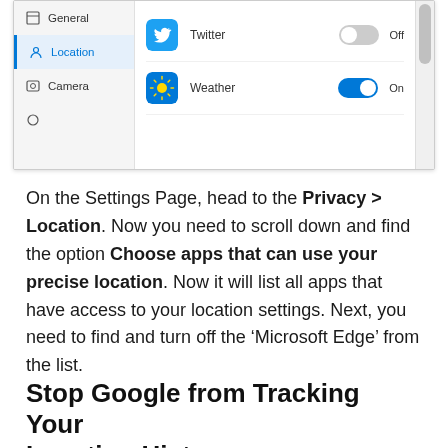[Figure (screenshot): Windows Settings screenshot showing Privacy location settings panel. Left sidebar has General, Location (highlighted in blue), and Camera items. Main area shows Twitter with Off toggle and Weather with On toggle. Scrollbar visible on right.]
On the Settings Page, head to the Privacy > Location. Now you need to scroll down and find the option Choose apps that can use your precise location. Now it will list all apps that have access to your location settings. Next, you need to find and turn off the ‘Microsoft Edge’ from the list.
Stop Google from Tracking Your Location History